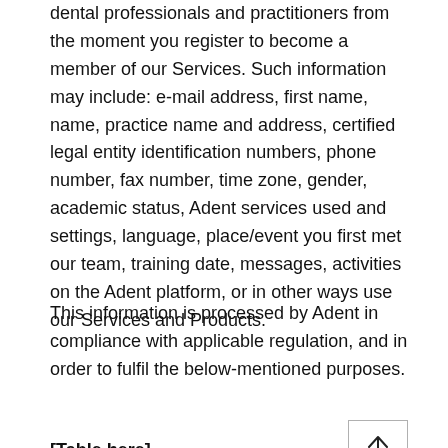dental professionals and practitioners from the moment you register to become a member of our Services. Such information may include: e-mail address, first name, name, practice name and address, certified legal entity identification numbers, phone number, fax number, time zone, gender, academic status, Adent services used and settings, language, place/event you first met our team, training date, messages, activities on the Adent platform, or in other ways use our Services and Products.
This information is processed by Adent in compliance with applicable regulation, and in order to fulfil the below-mentioned purposes.
[Table here]
Sharing your personal data with others
We allow you to share your personal data with our partners (such as a